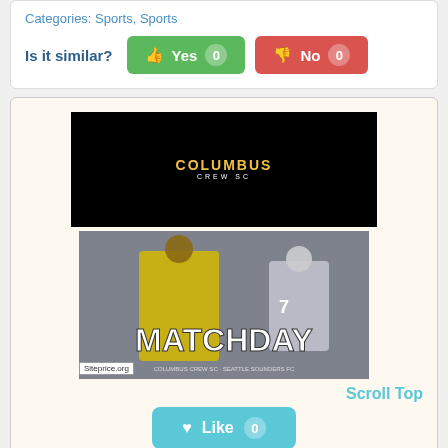Categories: Sports, Sports
Is it similar?
[Figure (screenshot): Columbus Crew SC logo on black background]
[Figure (photo): Matchday soccer photo with player in yellow jersey, text MATCHDAY, Siteprice.org badge]
Scroll Top
Like 0
columbuscrewsc.com
columbuscrew
the official home of the columbus crew, the first club in